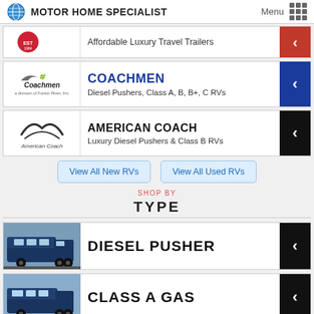MOTOR HOME SPECIALIST | Menu
[Figure (other): Partial brand row: cross-country logo, Affordable Luxury Travel Trailers, red arrow]
[Figure (other): Coachmen brand row: Coachmen logo, COACHMEN Diesel Pushers Class A B B+ C RVs, blue arrow]
[Figure (other): American Coach brand row: American Coach logo, AMERICAN COACH Luxury Diesel Pushers & Class B RVs, black arrow]
View All New RVs
View All Used RVs
SHOP BY TYPE
[Figure (other): DIESEL PUSHER type row with motorhome photo]
[Figure (other): CLASS A GAS type row with motorhome photo]
[Figure (other): CLASS C & B+ type row with motorhome photo (partial)]